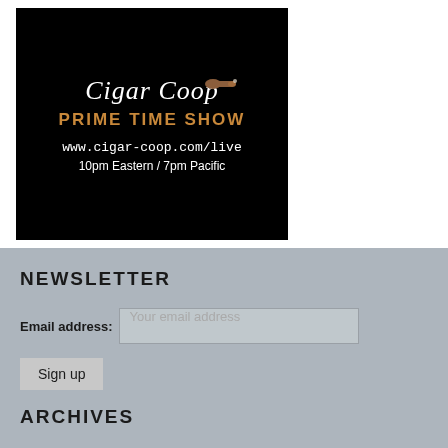[Figure (illustration): Cigar Coop Prime Time Show advertisement on black background. Shows 'Cigar Coop' in italic white script with a cigar illustration, 'PRIME TIME SHOW' in bronze/gold bold letters, 'www.cigar-coop.com/live' in white monospace, and '10pm Eastern / 7pm Pacific' in white text.]
NEWSLETTER
Email address: Your email address
Sign up
ARCHIVES